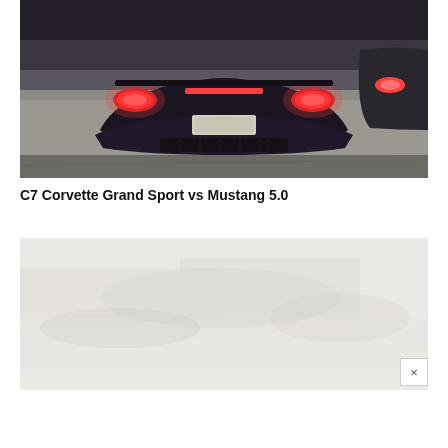[Figure (photo): Rear view of a C7 Corvette Grand Sport (dark colored) on a road with glowing red taillights, with another vehicle visible in the background on the right side.]
C7 Corvette Grand Sport vs Mustang 5.0
[Figure (photo): A light gray/beige blurred image, appears to be a road scene, with a small close/dismiss button (×) in the bottom-right corner.]